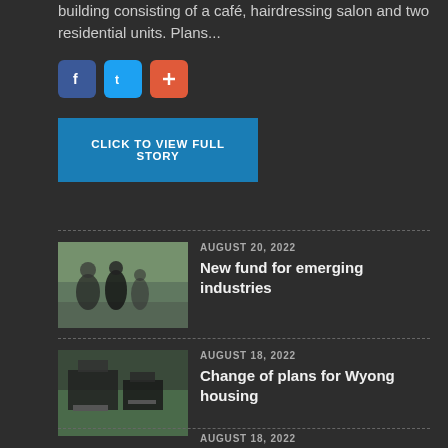building consisting of a café, hairdressing salon and two residential units. Plans...
[Figure (other): Social share buttons: Facebook (blue), Twitter (blue), plus/share (orange-red)]
CLICK TO VIEW FULL STORY
AUGUST 20, 2022 — New fund for emerging industries
AUGUST 18, 2022 — Change of plans for Wyong housing
AUGUST 18, 2022 — New training facility to focus on